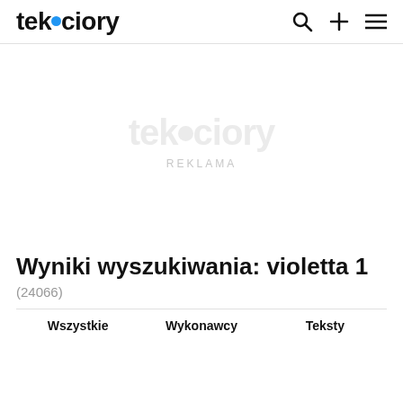tekściory
[Figure (other): Advertisement placeholder with tekściory watermark logo and REKLAMA label]
Wyniki wyszukiwania: violetta 1
(24066)
Wszystkie  Wykonawcy  Teksty